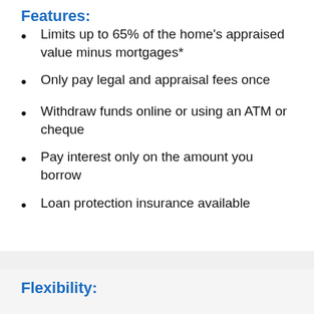Features:
Limits up to 65% of the home's appraised value minus mortgages*
Only pay legal and appraisal fees once
Withdraw funds online or using an ATM or cheque
Pay interest only on the amount you borrow
Loan protection insurance available
Flexibility: